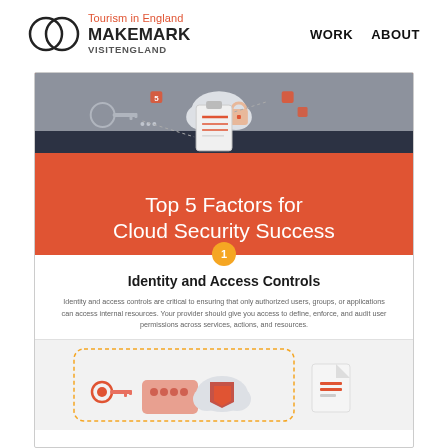Tourism in England MAKEMARK VISITENGLAND   WORK   ABOUT
[Figure (infographic): Top 5 Factors for Cloud Security Success infographic. Hero banner with gray top section showing cloud, key, clipboard, and lock icons connected by dotted lines. Red lower section with title text. Below: Section 1 'Identity and Access Controls' with explanatory text and icon illustrations of a key, credit card, cloud with shield, and document.]
Top 5 Factors for Cloud Security Success
Identity and Access Controls
Identity and access controls are critical to ensuring that only authorized users, groups, or applications can access internal resources. Your provider should give you access to define, enforce, and audit user permissions across services, actions, and resources.